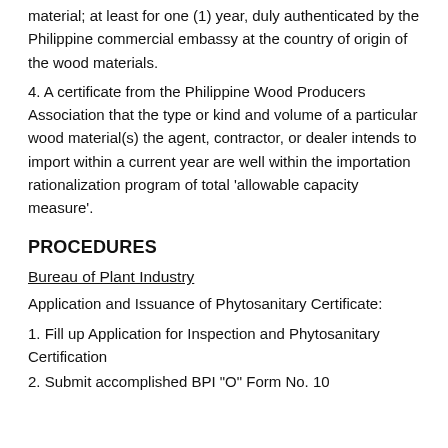material; at least for one (1) year, duly authenticated by the Philippine commercial embassy at the country of origin of the wood materials.
4. A certificate from the Philippine Wood Producers Association that the type or kind and volume of a particular wood material(s) the agent, contractor, or dealer intends to import within a current year are well within the importation rationalization program of total 'allowable capacity measure'.
PROCEDURES
Bureau of Plant Industry
Application and Issuance of Phytosanitary Certificate:
1. Fill up Application for Inspection and Phytosanitary Certification
2. Submit accomplished BPI "O" Form No. 10